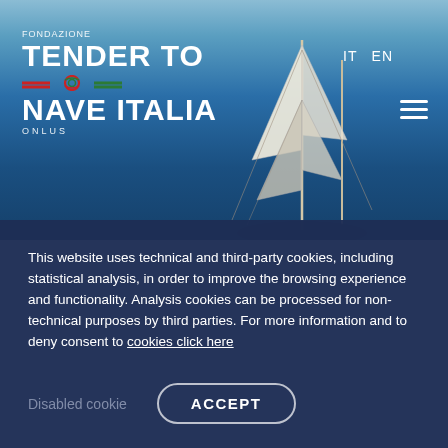[Figure (screenshot): Screenshot of Fondazione Tender To Nave Italia Onlus website showing a hero image with a sailing ship on the ocean with blue sky, navigation menu with IT/EN language options and hamburger menu icon, and the organization logo in the top left.]
This website uses technical and third-party cookies, including statistical analysis, in order to improve the browsing experience and functionality. Analysis cookies can be processed for non-technical purposes by third parties. For more information and to deny consent to cookies click here
Disabled cookie
ACCEPT